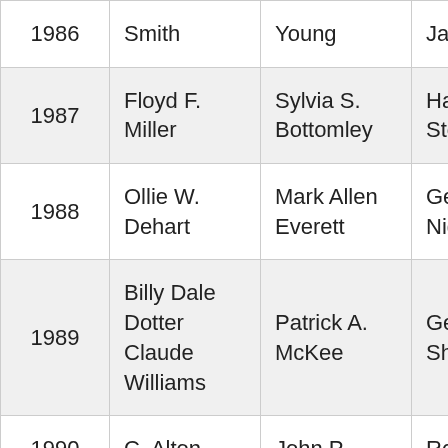| Year | Person 1 | Person 2 | Person 3 |
| --- | --- | --- | --- |
| 1986 | Smith | Young | Jack Spears |
| 1987 | Floyd F. Miller | Sylvia S. Bottomley | Harl N. Stokes |
| 1988 | Ollie W. Dehart | Mark Allen Everett | George Night |
| 1989 | Billy Dale Dotter Claude Williams | Patrick A. McKee | George F. Short |
| 1990 | C. Alton | John P. | Rodman A. |